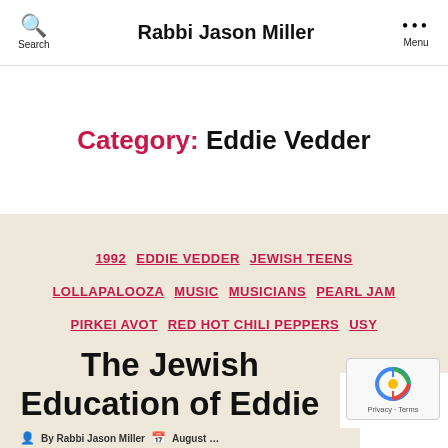Rabbi Jason Miller
Category: Eddie Vedder
1992  EDDIE VEDDER  JEWISH TEENS  LOLLAPALOOZA  MUSIC  MUSICIANS  PEARL JAM  PIRKEI AVOT  RED HOT CHILI PEPPERS  USY  USY ON WHEELS
The Jewish Education of Eddie Vedder
By Rabbi Jason Miller    August 7, 2018